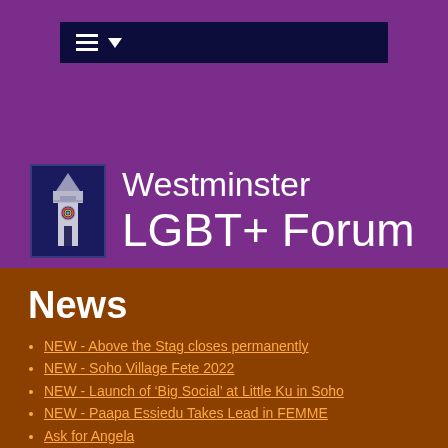[Figure (screenshot): Navigation bar with hamburger menu icon and dropdown arrow on dark navy background]
Westminster LGBT+ Forum
News
NEW - Above the Stag closes permanently
NEW - Soho Village Fete 2022
NEW - Launch of ‘Big Social’ at Little Ku in Soho
NEW - Paapa Essiedu Takes Lead in FEMME
Ask for Angela